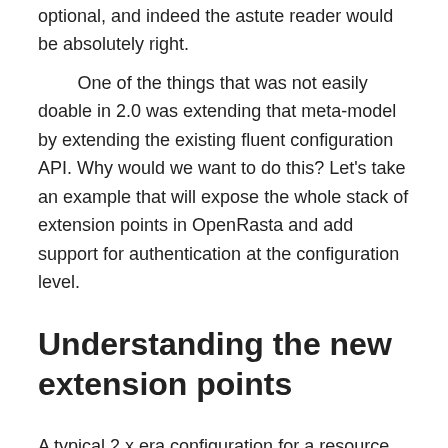optional, and indeed the astute reader would be absolutely right.
One of the things that was not easily doable in 2.0 was extending that meta-model by extending the existing fluent configuration API. Why would we want to do this? Let's take an example that will expose the whole stack of extension points in OpenRasta and add support for authentication at the configuration level.
Understanding the new extension points
A typical 2.x era configuration for a resource contains multiple chained methods, one per thing you want to configure for a resource.